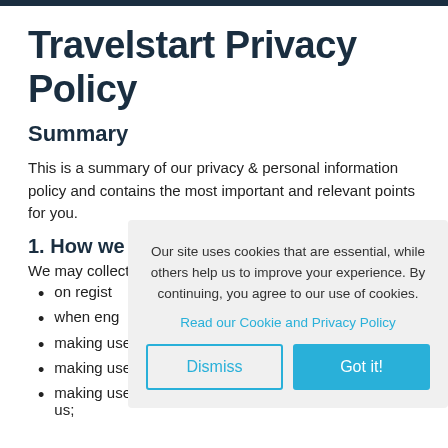Travelstart Privacy Policy
Summary
This is a summary of our privacy & personal information policy and contains the most important and relevant points for you.
1. How we
We may collect
on regist
when eng
making use of our real-time reporting tools;
making use of any reservation services;
making use of any other goods or services offered by us;
[Figure (screenshot): Cookie consent modal with text 'Our site uses cookies that are essential, while others help us to improve your experience. By continuing, you agree to our use of cookies.' with a 'Read our Cookie and Privacy Policy' link and two buttons: 'Dismiss' and 'Got it!']